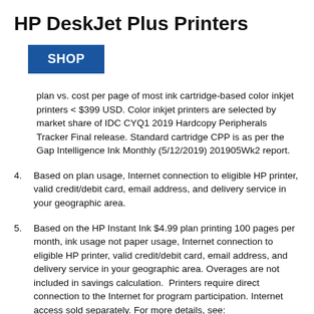HP DeskJet Plus Printers
[Figure (other): Blue SHOP button]
plan vs. cost per page of most ink cartridge-based color inkjet printers < $399 USD. Color inkjet printers are selected by market share of IDC CYQ1 2019 Hardcopy Peripherals Tracker Final release. Standard cartridge CPP is as per the Gap Intelligence Ink Monthly (5/12/2019) 201905Wk2 report.
4. Based on plan usage, Internet connection to eligible HP printer, valid credit/debit card, email address, and delivery service in your geographic area.
5. Based on the HP Instant Ink $4.99 plan printing 100 pages per month, ink usage not paper usage, Internet connection to eligible HP printer, valid credit/debit card, email address, and delivery service in your geographic area. Overages are not included in savings calculation. Printers require direct connection to the Internet for program participation. Internet access sold separately. For more details, see: hpinstantink.com.
6. Wireless operations are compatible with 2.4 GHz and 5.0 GHz operations only. Learn more at hp.com/go/mobileprinting. Wi-